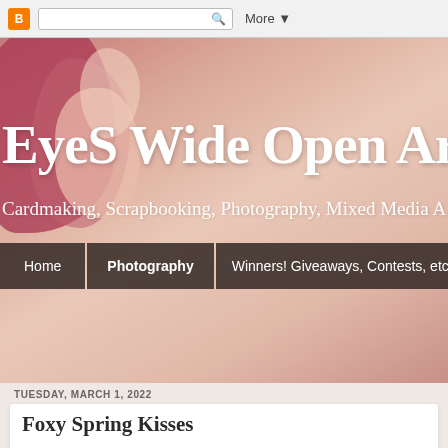Blogger navigation bar with search
[Figure (screenshot): Blog header banner with watercolor pink/red floral background]
Eyes Wide Open Arts
Cardmaking, Scrapbooking, Photography, Mixed Media A…
Home | Photography | Winners! Giveaways, Contests, etc
TUESDAY, MARCH 1, 2022
Foxy Spring Kisses
Hey hey! It's the first day of March and a chilly one here in the T… the month at the Clever Dexter Challenge with a Hello Spring th… Delights.